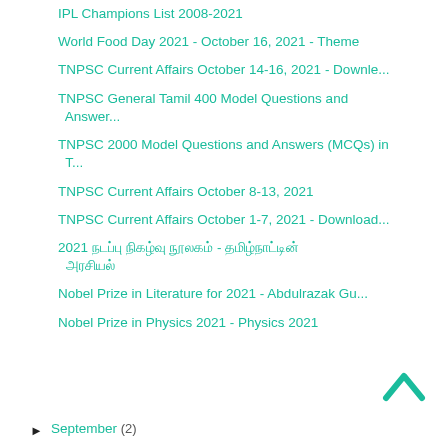IPL Champions List 2008-2021
World Food Day 2021 - October 16, 2021 - Theme
TNPSC Current Affairs October 14-16, 2021 - Downle...
TNPSC General Tamil 400 Model Questions and Answer...
TNPSC 2000 Model Questions and Answers (MCQs) in T...
TNPSC Current Affairs October 8-13, 2021
TNPSC Current Affairs October 1-7, 2021 - Download...
2021 நடப்பு நிகழ்வு நூலகம் - தமிழ்நாட்டின் அரசியல்
Nobel Prize in Literature for 2021 - Abdulrazak Gu...
Nobel Prize in Physics 2021 - Physics 2021
► September (2)